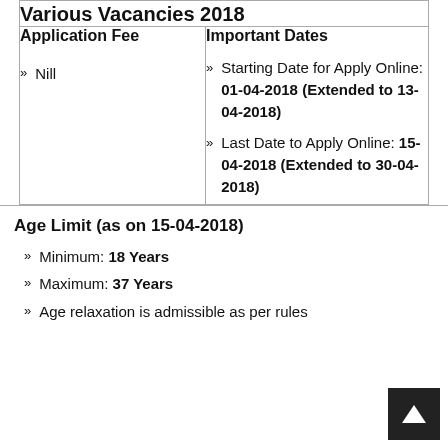Various Vacancies 2018
Application Fee
Important Dates
» Nill
» Starting Date for Apply Online: 01-04-2018 (Extended to 13-04-2018)
» Last Date to Apply Online: 15-04-2018 (Extended to 30-04-2018)
Age Limit (as on 15-04-2018)
» Minimum: 18 Years
» Maximum: 37 Years
» Age relaxation is admissible as per rules